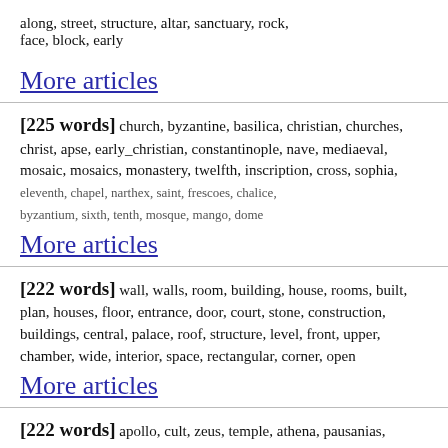along, street, structure, altar, sanctuary, rock, face, block, early
More articles
[225 words] church, byzantine, basilica, christian, churches, christ, apse, early_christian, constantinople, nave, mediaeval, mosaic, mosaics, monastery, twelfth, inscription, cross, sophia, eleventh, chapel, narthex, saint, frescoes, chalice, byzantium, sixth, tenth, mosque, mango, dome
More articles
[222 words] wall, walls, room, building, house, rooms, built, plan, houses, floor, entrance, door, court, stone, construction, buildings, central, palace, roof, structure, level, front, upper, chamber, wide, interior, space, rectangular, corner, open
More articles
[222 words] apollo, cult, zeus, temple, athena, pausanias, delphi, sanctuary, athens, oracle, artemis, shrine, sacred, altar, demeter, poseidon, goddess, festival, paus, name, dedicated, statue, athenian, hero,